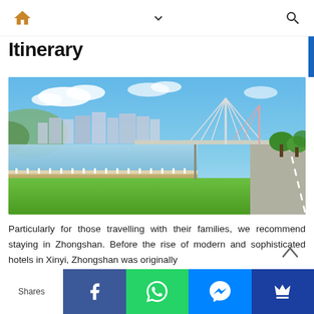navigation bar with home, chevron, search icons
Itinerary
[Figure (photo): Panoramic river scene with green grass banks, a cable-stayed bridge, city buildings in the background, and a blue sky with clouds. A path runs along the right side of the river.]
Particularly for those travelling with their families, we recommend staying in Zhongshan. Before the rise of modern and sophisticated hotels in Xinyi, Zhongshan was originally
Shares | Facebook | WhatsApp | Messenger | Crown icon